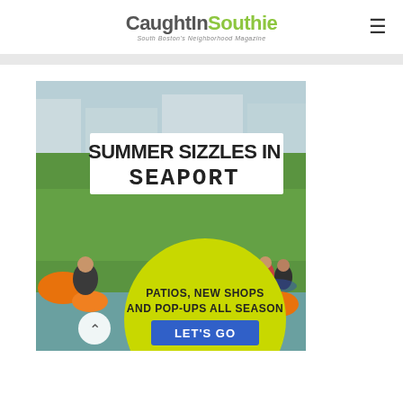CaughtInSouthie — South Boston's Neighborhood Magazine
[Figure (infographic): Summer Sizzles in Seaport advertisement. Outdoor photo of people relaxing on a lawn in the Seaport district. Large white text reads 'SUMMER SIZZLES IN SEAPORT'. Yellow circle at bottom with text 'PATIOS, NEW SHOPS AND POP-UPS ALL SEASON' and a blue button 'LET'S GO'.]